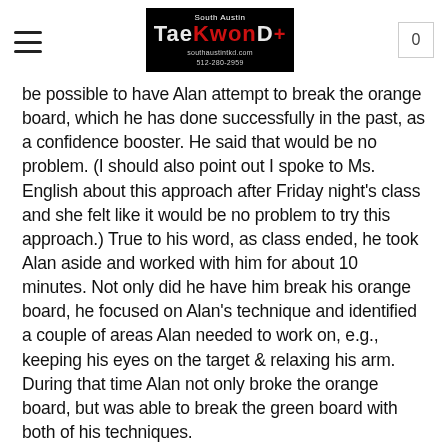South Austin TaeKwonDo Plus — navigation header with logo and cart (0)
be possible to have Alan attempt to break the orange board, which he has done successfully in the past, as a confidence booster. He said that would be no problem. (I should also point out I spoke to Ms. English about this approach after Friday night's class and she felt like it would be no problem to try this approach.) True to his word, as class ended, he took Alan aside and worked with him for about 10 minutes. Not only did he have him break his orange board, he focused on Alan's technique and identified a couple of areas Alan needed to work on, e.g., keeping his eyes on the target & relaxing his arm. During that time Alan not only broke the orange board, but was able to break the green board with both of his techniques.
I'm sure this approach, breaking a previous